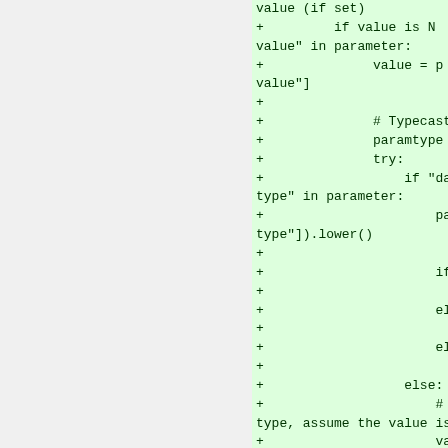[Figure (screenshot): Code diff showing added lines (green background) with Python code for parameter value handling and typecasting. The left half of the page is a gray/light panel (likely a previous diff or empty area), and the right half shows green-highlighted added code lines starting with '+' characters.]